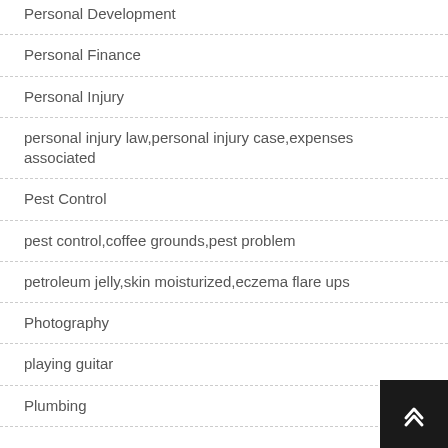Personal Development
Personal Finance
Personal Injury
personal injury law,personal injury case,expenses associated
Pest Control
pest control,coffee grounds,pest problem
petroleum jelly,skin moisturized,eczema flare ups
Photography
playing guitar
Plumbing